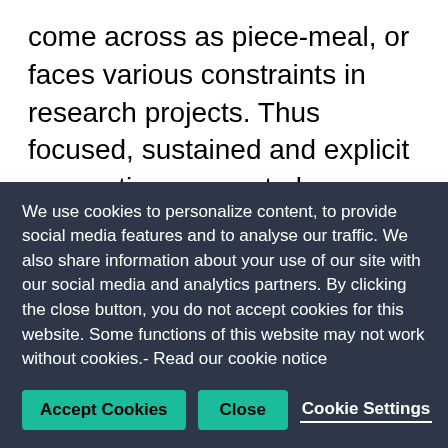come across as piece-meal, or faces various constraints in research projects. Thus focused, sustained and explicit connections are not always possible.
How can researchers then better integrate GSE in their work? What kinds of successful examples are there, and what kinds of challenges do they face? At the GSI Science Forum: Researcher(s) on GSE...
We use cookies to personalize content, to provide social media features and to analyse our traffic. We also share information about your use of our site with our social media and analytics partners. By clicking the close button, you do not accept cookies for this website. Some functions of this website may not work without cookies.- Read our cookie notice
Accept Cookies | Close | Cookie Settings